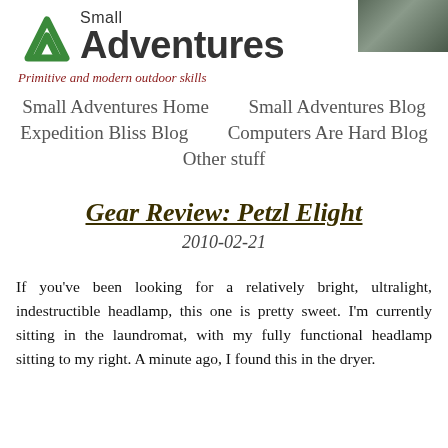[Figure (logo): Small Adventures logo with green mountain/tent chevron icon and text 'Small Adventures' in bold sans-serif]
Primitive and modern outdoor skills
[Figure (photo): Partial outdoor/nature photo in top-right corner, dark and muted tones]
Small Adventures Home
Small Adventures Blog
Expedition Bliss Blog
Computers Are Hard Blog
Other stuff
Gear Review: Petzl Elight
2010-02-21
If you've been looking for a relatively bright, ultralight, indestructible headlamp, this one is pretty sweet. I'm currently sitting in the laundromat, with my fully functional headlamp sitting to my right. A minute ago, I found this in the dryer.